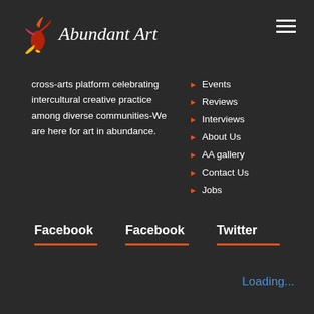[Figure (logo): Abundant Art logo with stylized bird/flame icon in red, yellow, and pink, with italic text 'Abundant Art']
cross-arts platform celebrating intercultural creative practice among diverse communities-We are here for art in abundance.
Events
Reviews
Interviews
About Us
AA gallery
Contact Us
Jobs
Facebook
Facebook
Twitter
Loading...